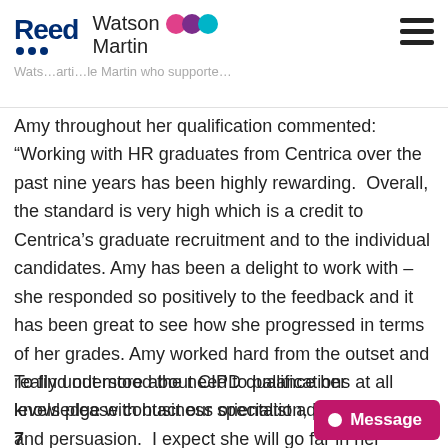Reed Watson Martin
Amy throughout her qualification commented: “Working with HR graduates from Centrica over the past nine years has been highly rewarding.  Overall, the standard is very high which is a credit to Centrica’s graduate recruitment and to the individual candidates. Amy has been a delight to work with – she responded so positively to the feedback and it has been great to see how she progressed in terms of her grades. Amy worked hard from the outset and really understood the need to balance her knowledge with business orientation, presentation and persuasion.  I expect she will go far in her career.”
To find out more about CIPD qualifications at all levels please contact our specialist advisers on: 020 7